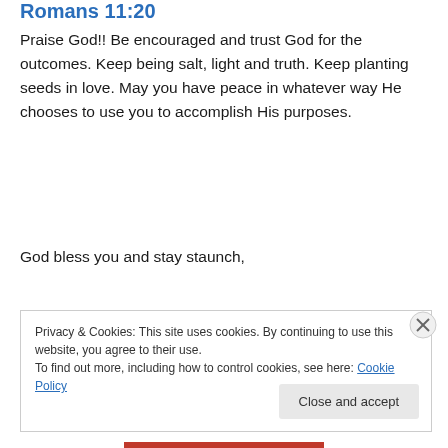Romans 11:20
Praise God!! Be encouraged and trust God for the outcomes. Keep being salt, light and truth. Keep planting seeds in love. May you have peace in whatever way He chooses to use you to accomplish His purposes.
God bless you and stay staunch,
Nicole
Nicole D. Hayes is the founder of Voices Against the Grain, a bold teaching ministry launched in May
Privacy & Cookies: This site uses cookies. By continuing to use this website, you agree to their use.
To find out more, including how to control cookies, see here: Cookie Policy
Close and accept